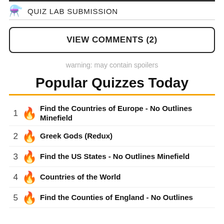QUIZ LAB SUBMISSION
VIEW COMMENTS (2)
warning: may contain spoilers
Popular Quizzes Today
1 Find the Countries of Europe - No Outlines Minefield
2 Greek Gods (Redux)
3 Find the US States - No Outlines Minefield
4 Countries of the World
5 Find the Counties of England - No Outlines